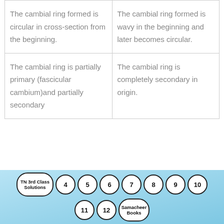| The cambial ring formed is circular in cross-section from the beginning. | The cambial ring formed is wavy in the beginning and later becomes circular. |
| The cambial ring is partially primary (fascicular cambium)and partially secondary | The cambial ring is completely secondary in origin. |
[Figure (other): Footer navigation bar with oval/circle buttons: TN 3rd Class Solutions, 4, 5, 6, 7, 8, 9, 10 on first row; 11, 12, Samacheer Books on second row. Light blue gradient background.]